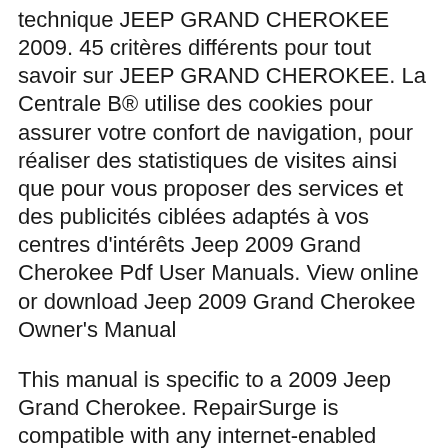technique JEEP GRAND CHEROKEE 2009. 45 critères différents pour tout savoir sur JEEP GRAND CHEROKEE. La Centrale B® utilise des cookies pour assurer votre confort de navigation, pour réaliser des statistiques de visites ainsi que pour vous proposer des services et des publicités ciblées adaptés à vos centres d'intérêts Jeep 2009 Grand Cherokee Pdf User Manuals. View online or download Jeep 2009 Grand Cherokee Owner's Manual
This manual is specific to a 2009 Jeep Grand Cherokee. RepairSurge is compatible with any internet-enabled computer, laptop, smartphone or tablet